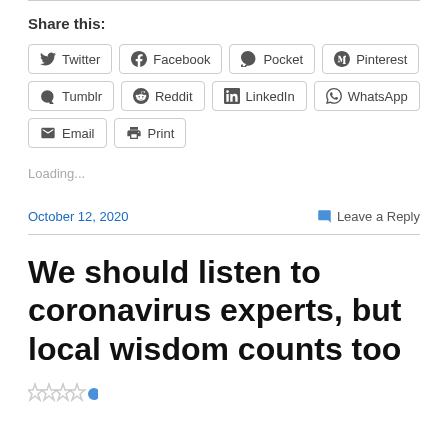Share this:
Twitter  Facebook  Pocket  Pinterest  Tumblr  Reddit  LinkedIn  WhatsApp  Email  Print
Loading...
October 12, 2020   Leave a Reply
We should listen to coronavirus experts, but local wisdom counts too